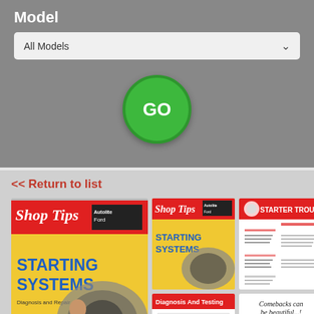Model
All Models
GO
<< Return to list
[Figure (screenshot): Large Shop Tips Starting Systems magazine cover with yellow background and illustration of a car starter motor with a woman mechanic]
[Figure (screenshot): Small Shop Tips Starting Systems magazine cover thumbnail]
[Figure (screenshot): Small Starter Trouble page thumbnail with red header]
[Figure (screenshot): Small Diagnosis And Testing page thumbnail]
[Figure (screenshot): Small Comebacks can be beautiful advertisement thumbnail]